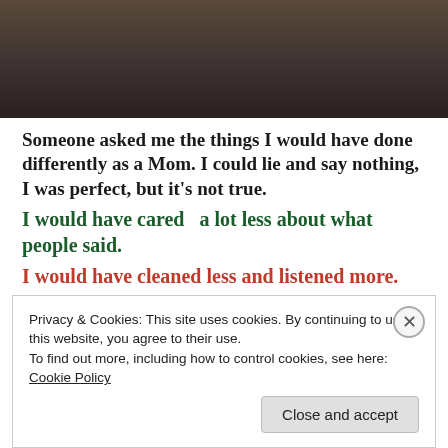[Figure (photo): Partial photo of a woman, cropped at top, dark background.]
Someone asked me the things I would have done differently as a Mom. I could lie and say nothing, I was perfect, but it's not true.
I would have cared  a lot less about what people said.
I would have cleaned less and listened more.
I would have ignored the heartburn, swelling, and other difficulties of my pregnancy because my son was growing under my heart even as he took over my
Privacy & Cookies: This site uses cookies. By continuing to use this website, you agree to their use.
To find out more, including how to control cookies, see here: Cookie Policy
Close and accept